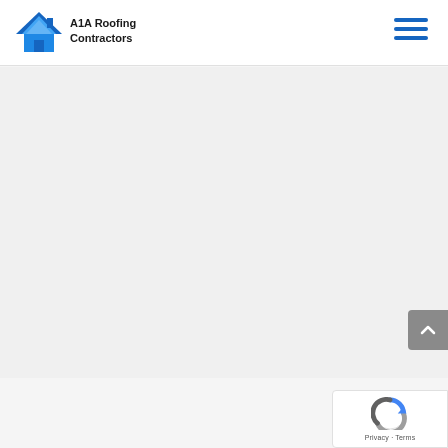A1A Roofing Contractors
[Figure (screenshot): Main content area - mostly empty light gray background]
[Figure (other): reCAPTCHA badge with Privacy and Terms links]